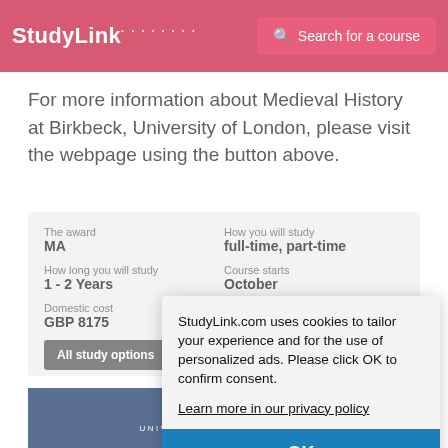StudyLink — Search for a course
For more information about Medieval History at Birkbeck, University of London, please visit the webpage using the button above.
| The award | How you will study | How long you will study | Course starts | Domestic cost | International cost |
| --- | --- | --- | --- | --- | --- |
| MA | full-time, part-time |
| 1 - 2 Years | October |
| GBP 8175 | GBP 14850 per year |
StudyLink.com uses cookies to tailor your experience and for the use of personalized ads. Please click OK to confirm consent.
Learn more in our privacy policy
OK
[Figure (screenshot): Ovidius University of Constanta logo/banner at the bottom of the page]